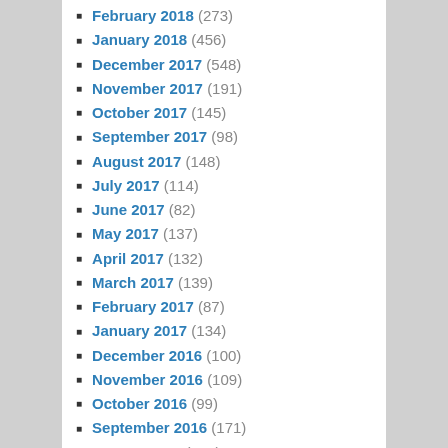February 2018 (273)
January 2018 (456)
December 2017 (548)
November 2017 (191)
October 2017 (145)
September 2017 (98)
August 2017 (148)
July 2017 (114)
June 2017 (82)
May 2017 (137)
April 2017 (132)
March 2017 (139)
February 2017 (87)
January 2017 (134)
December 2016 (100)
November 2016 (109)
October 2016 (99)
September 2016 (171)
August 2016 (193)
July 2016 (131)
June 2016 (191)